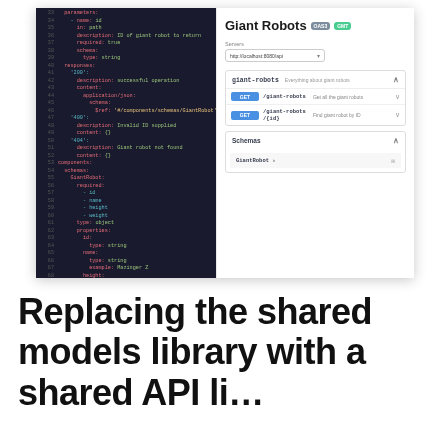[Figure (screenshot): Split-pane screenshot: left side shows a dark-themed YAML/OpenAPI code editor with line numbers 33–73 displaying a GiantRobot schema definition; right side shows a Swagger UI panel titled 'Giant Robots' with OAS3 and GMT badges, a server selector, two GET endpoints (/giant-robots and /giant-robots/{id}), and a Schemas section with GiantRobot.]
Replacing the shared models library with a shared API li…